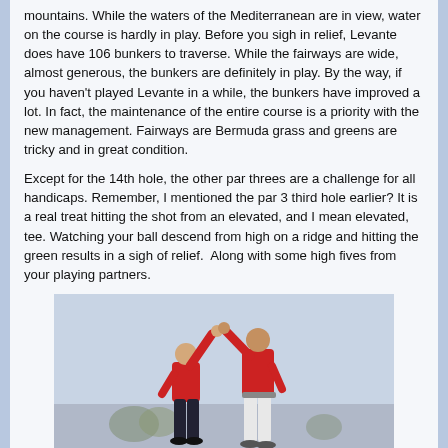mountains. While the waters of the Mediterranean are in view, water on the course is hardly in play. Before you sigh in relief, Levante does have 106 bunkers to traverse. While the fairways are wide, almost generous, the bunkers are definitely in play. By the way, if you haven't played Levante in a while, the bunkers have improved a lot. In fact, the maintenance of the entire course is a priority with the new management. Fairways are Bermuda grass and greens are tricky and in great condition.
Except for the 14th hole, the other par threes are a challenge for all handicaps. Remember, I mentioned the par 3 third hole earlier? It is a real treat hitting the shot from an elevated, and I mean elevated, tee. Watching your ball descend from high on a ridge and hitting the green results in a sigh of relief.  Along with some high fives from your playing partners.
[Figure (photo): Two golfers in red shirts giving each other a high five outdoors, likely on a golf course or ridge with a light sky background.]